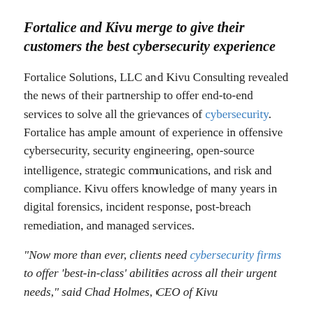Fortalice and Kivu merge to give their customers the best cybersecurity experience
Fortalice Solutions, LLC and Kivu Consulting revealed the news of their partnership to offer end-to-end services to solve all the grievances of cybersecurity. Fortalice has ample amount of experience in offensive cybersecurity, security engineering, open-source intelligence, strategic communications, and risk and compliance. Kivu offers knowledge of many years in digital forensics, incident response, post-breach remediation, and managed services.
"Now more than ever, clients need cybersecurity firms to offer 'best-in-class' abilities across all their urgent needs," said Chad Holmes, CEO of Kivu